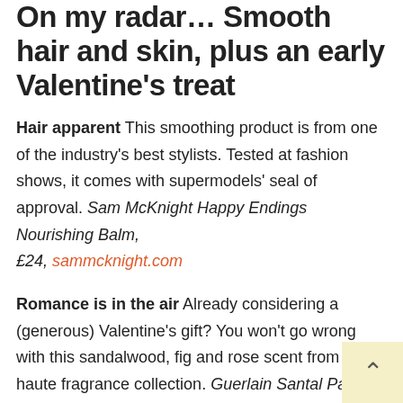On my radar... Smooth hair and skin, plus an early Valentine's treat
Hair apparent This smoothing product is from one of the industry's best stylists. Tested at fashion shows, it comes with supermodels' seal of approval. Sam McKnight Happy Endings Nourishing Balm, £24, sammcknight.com
Romance is in the air Already considering a (generous) Valentine's gift? You won't go wrong with this sandalwood, fig and rose scent from this haute fragrance collection. Guerlain Santal Pao Rosa, £280, guerlain.com